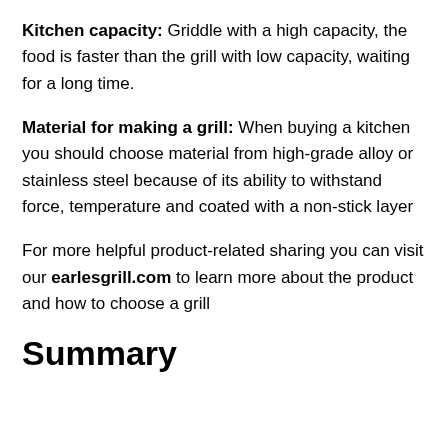Kitchen capacity: Griddle with a high capacity, the food is faster than the grill with low capacity, waiting for a long time.
Material for making a grill: When buying a kitchen you should choose material from high-grade alloy or stainless steel because of its ability to withstand force, temperature and coated with a non-stick layer
For more helpful product-related sharing you can visit our earlesgrill.com to learn more about the product and how to choose a grill
Summary